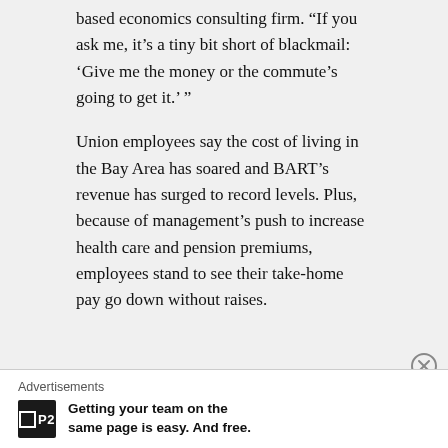based economics consulting firm. “If you ask me, it’s a tiny bit short of blackmail: ‘Give me the money or the commute’s going to get it.’ ”
Union employees say the cost of living in the Bay Area has soared and BART’s revenue has surged to record levels. Plus, because of management’s push to increase health care and pension premiums, employees stand to see their take-home pay go down without raises.
Advertisements
Getting your team on the same page is easy. And free.